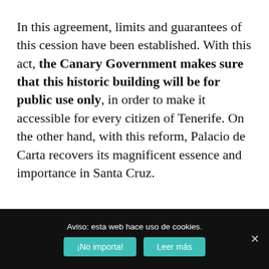In this agreement, limits and guarantees of this cession have been established. With this act, the Canary Government makes sure that this historic building will be for public use only, in order to make it accessible for every citizen of Tenerife. On the other hand, with this reform, Palacio de Carta recovers its magnificent essence and importance in Santa Cruz.
Aviso: esta web hace uso de cookies.
¡No importa!
Leer más